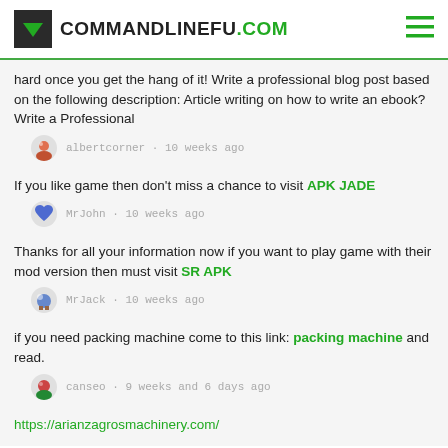COMMANDLINEFU.COM
hard once you get the hang of it! Write a professional blog post based on the following description: Article writing on how to write an ebook? Write a Professional
albertcorner · 10 weeks ago
If you like game then don't miss a chance to visit APK JADE
MrJohn · 10 weeks ago
Thanks for all your information now if you want to play game with their mod version then must visit SR APK
MrJack · 10 weeks ago
if you need packing machine come to this link: packing machine and read.
canseo · 9 weeks and 6 days ago
https://arianzagrosmachinery.com/